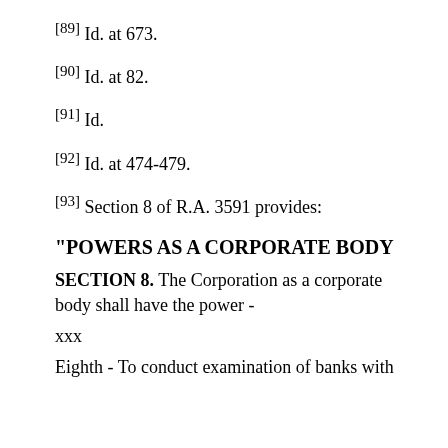[89] Id. at 673.
[90] Id. at 82.
[91] Id.
[92] Id. at 474-479.
[93] Section 8 of R.A. 3591 provides:
"POWERS AS A CORPORATE BODY
SECTION 8. The Corporation as a corporate body shall have the power -
xxx
Eighth - To conduct examination of banks with